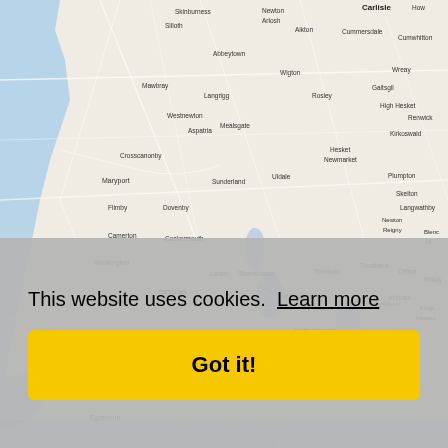[Figure (map): OpenStreetMap-style road map showing Cumbria, England, including locations such as Carlisle, Cockermouth, Keswick, Whitehaven, Workington, Kendal, and surrounding towns and villages. The map shows roads as white lines, water bodies in blue, and land in beige/grey tones.]
This website uses cookies.  Learn more
Got it!